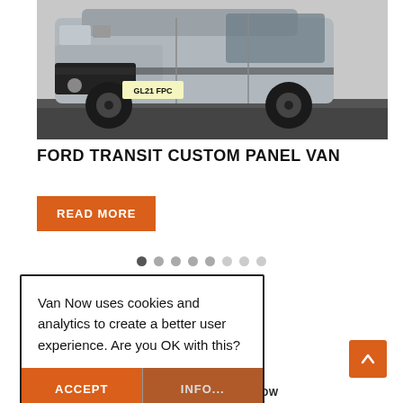[Figure (photo): Front/side view of a silver Ford Transit Custom Panel Van with registration plate GL21 FPC, parked on a dark surface.]
FORD TRANSIT CUSTOM PANEL VAN
READ MORE
Van Now uses cookies and analytics to create a better user experience. Are you OK with this?
ACCEPT   INFO...
COPYRIGHT © 2022 VAN NOW